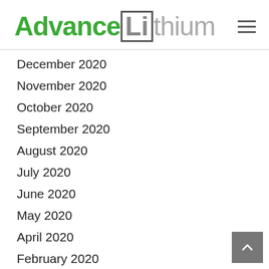[Figure (logo): Advance Lithium logo — 'Advance' in green bold, 'Li' in a bordered box in gray, 'thium' in light gray]
December 2020
November 2020
October 2020
September 2020
August 2020
July 2020
June 2020
May 2020
April 2020
February 2020
January 2020
December 2019